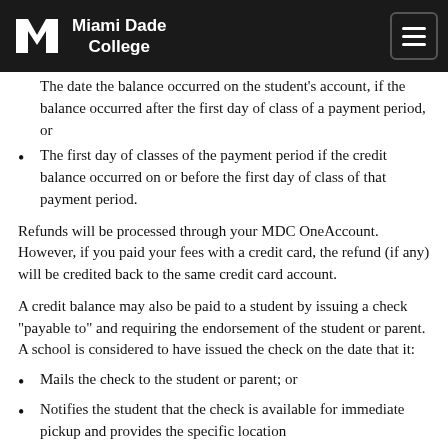Miami Dade College
The date the balance occurred on the student's account, if the balance occurred after the first day of class of a payment period, or
The first day of classes of the payment period if the credit balance occurred on or before the first day of class of that payment period.
Refunds will be processed through your MDC OneAccount. However, if you paid your fees with a credit card, the refund (if any) will be credited back to the same credit card account.
A credit balance may also be paid to a student by issuing a check "payable to" and requiring the endorsement of the student or parent. A school is considered to have issued the check on the date that it:
Mails the check to the student or parent; or
Notifies the student that the check is available for immediate pickup and provides the specific location